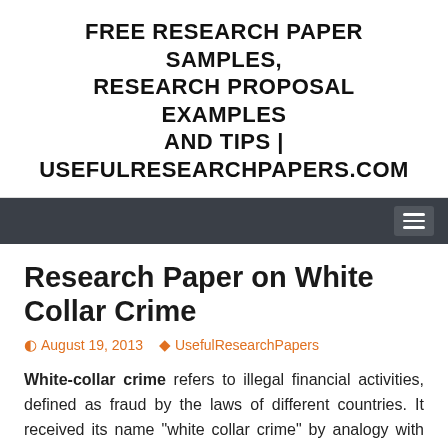FREE RESEARCH PAPER SAMPLES, RESEARCH PROPOSAL EXAMPLES AND TIPS | USEFULRESEARCHPAPERS.COM
Research Paper on White Collar Crime
August 19, 2013   UsefulResearchPapers
White-collar crime refers to illegal financial activities, defined as fraud by the laws of different countries. It received its name "white collar crime" by analogy with white-collar office workers, as opposed to blue-collar manual workers. It does not usually include the fraud practiced against individuals, even